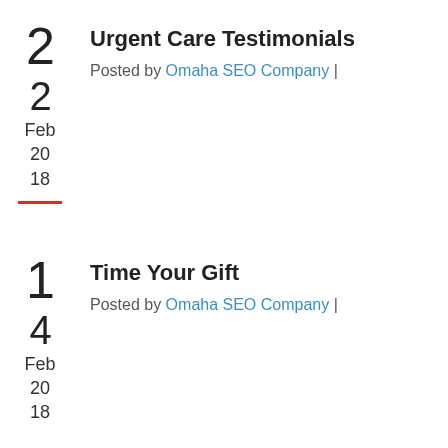Urgent Care Testimonials
Posted by Omaha SEO Company |
2 Feb 2018
Time Your Gift
Posted by Omaha SEO Company |
4 Feb 2018